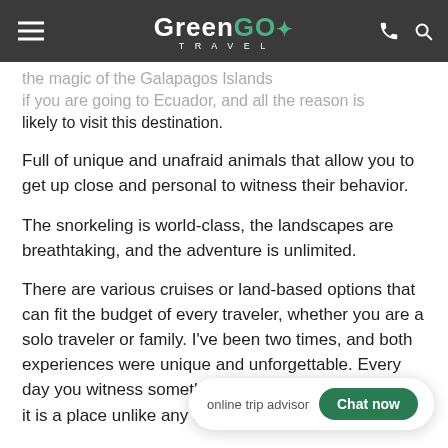GreenGo Travel
the magic of the Galapagos Islands if you are going to Ecuador, and all the reason is likely to visit this destination.
Full of unique and unafraid animals that allow you to get up close and personal to witness their behavior.
The snorkeling is world-class, the landscapes are breathtaking, and the adventure is unlimited.
There are various cruises or land-based options that can fit the budget of every traveler, whether you are a solo traveler or family. I've been two times, and both experiences were unique and unforgettable. Every day you witness something new and spectacular, and it is a place unlike any other on this earth.
Amazon Rainforest
The true nature experience of Ecuador, deep within